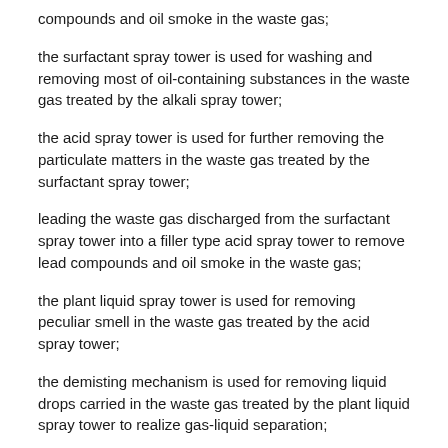compounds and oil smoke in the waste gas;
the surfactant spray tower is used for washing and removing most of oil-containing substances in the waste gas treated by the alkali spray tower;
the acid spray tower is used for further removing the particulate matters in the waste gas treated by the surfactant spray tower;
leading the waste gas discharged from the surfactant spray tower into a filler type acid spray tower to remove lead compounds and oil smoke in the waste gas;
the plant liquid spray tower is used for removing peculiar smell in the waste gas treated by the acid spray tower;
the demisting mechanism is used for removing liquid drops carried in the waste gas treated by the plant liquid spray tower to realize gas-liquid separation;
the electrostatic oil fume purification mechanism is used for removing oil mist drops and oil stain particles in the waste gas treated by the demisting mechanism under the action of the high-voltage electric field and removing partial smell in the waste gas